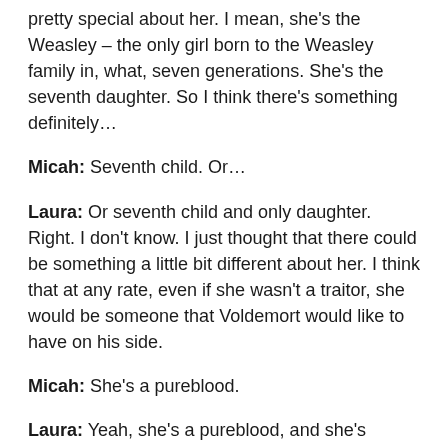pretty special about her. I mean, she's the Weasley – the only girl born to the Weasley family in, what, seven generations. She's the seventh daughter. So I think there's something definitely…
Micah: Seventh child. Or…
Laura: Or seventh child and only daughter. Right. I don't know. I just thought that there could be something a little bit different about her. I think that at any rate, even if she wasn't a traitor, she would be someone that Voldemort would like to have on his side.
Micah: She's a pureblood.
Laura: Yeah, she's a pureblood, and she's powerful. But, kind of moving along, I've seen a lot of people…